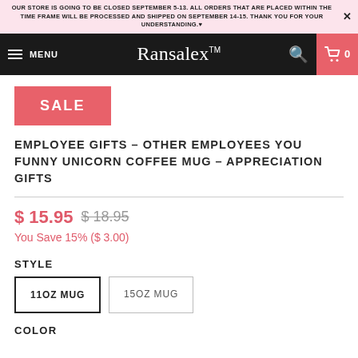OUR STORE IS GOING TO BE CLOSED SEPTEMBER 5-13. ALL ORDERS THAT ARE PLACED WITHIN THE TIME FRAME WILL BE PROCESSED AND SHIPPED ON SEPTEMBER 14-15. THANK YOU FOR YOUR UNDERSTANDING.
[Figure (logo): Ransalex TM logo in script font on black navigation bar with hamburger menu, search icon, and cart]
SALE
EMPLOYEE GIFTS - OTHER EMPLOYEES YOU FUNNY UNICORN COFFEE MUG - APPRECIATION GIFTS
$ 15.95   $ 18.95
You Save 15% ($ 3.00)
STYLE
11OZ MUG
15OZ MUG
COLOR